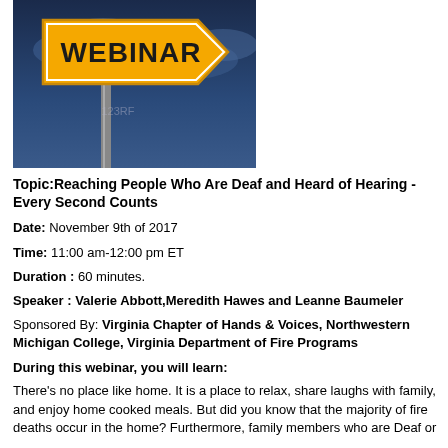[Figure (photo): A street sign shaped like an arrow pointing right with the word WEBINAR in bold black text on an orange/yellow background, mounted on a metal post against a dark cloudy blue sky. A watermark reads 123RF.]
Topic:Reaching People Who Are Deaf and Heard of Hearing - Every Second Counts
Date: November 9th of 2017
Time: 11:00 am-12:00 pm ET
Duration : 60 minutes.
Speaker : Valerie Abbott,Meredith Hawes and Leanne Baumeler
Sponsored By: Virginia Chapter of Hands & Voices, Northwestern Michigan College, Virginia Department of Fire Programs
During this webinar, you will learn:
There's no place like home. It is a place to relax, share laughs with family, and enjoy home cooked meals. But did you know that the majority of fire deaths occur in the home? Furthermore, family members who are Deaf or